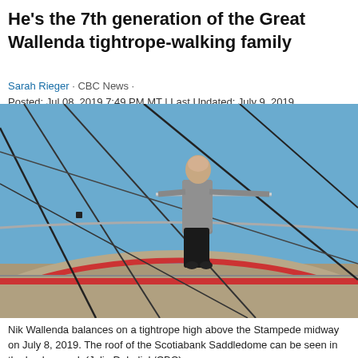He's the 7th generation of the Great Wallenda tightrope-walking family
Sarah Rieger · CBC News · Posted: Jul 08, 2019 7:49 PM MT | Last Updated: July 9, 2019
[Figure (photo): A man (Nik Wallenda) balancing on a tightrope high above the Stampede midway, holding a long balance pole, wearing a grey shirt and black pants. The Scotiabank Saddledome roof and blue sky are visible in the background, with multiple wire cables crossing the frame.]
Nik Wallenda balances on a tightrope high above the Stampede midway on July 8, 2019. The roof of the Scotiabank Saddledome can be seen in the background. (Julie Debeljak/CBC)